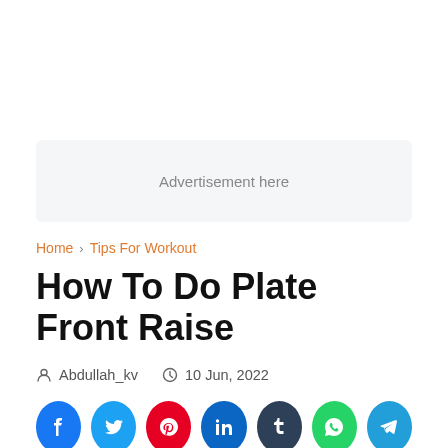[Figure (other): Advertisement placeholder box with text 'Advertisement here']
Home > Tips For Workout
How To Do Plate Front Raise
Abdullah_kv   10 Jun, 2022
[Figure (other): Social sharing buttons: Facebook, Twitter, Pinterest, LinkedIn, Tumblr, WhatsApp, Telegram]